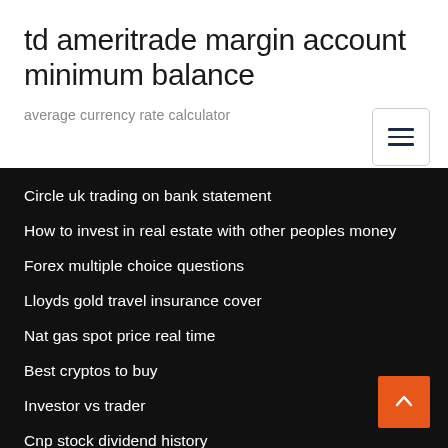td ameritrade margin account minimum balance
average currency rate calculator
Circle uk trading on bank statement
How to invest in real estate with other peoples money
Forex multiple choice questions
Lloyds gold travel insurance cover
Nat gas spot price real time
Best cryptos to buy
Investor vs trader
Cnp stock dividend history